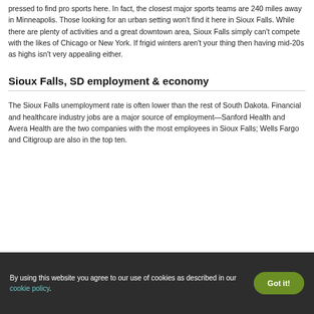pressed to find pro sports here. In fact, the closest major sports teams are 240 miles away in Minneapolis. Those looking for an urban setting won't find it here in Sioux Falls. While there are plenty of activities and a great downtown area, Sioux Falls simply can't compete with the likes of Chicago or New York. If frigid winters aren't your thing then having mid-20s as highs isn't very appealing either.
Sioux Falls, SD employment & economy
The Sioux Falls unemployment rate is often lower than the rest of South Dakota. Financial and healthcare industry jobs are a major source of employment—Sanford Health and Avera Health are the two companies with the most employees in Sioux Falls; Wells Fargo and Citigroup are also in the top ten.
By using this website you agree to our use of cookies as described in our cookie policy.